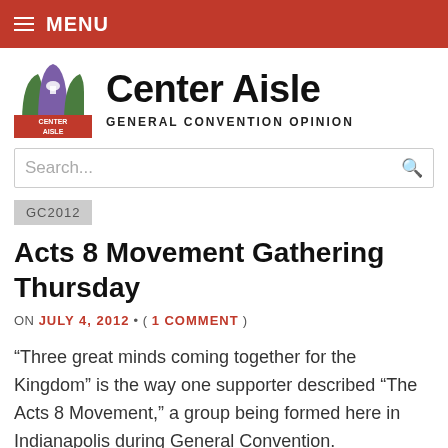≡ MENU
[Figure (logo): Center Aisle logo: stylized arch shapes in purple and green with a Capitol dome, text 'CENTER AISLE' at bottom]
Center Aisle
GENERAL CONVENTION OPINION
Search...
GC2012
Acts 8 Movement Gathering Thursday
ON JULY 4, 2012 • ( 1 COMMENT )
“Three great minds coming together for the Kingdom” is the way one supporter described “The Acts 8 Movement,” a group being formed here in Indianapolis during General Convention.